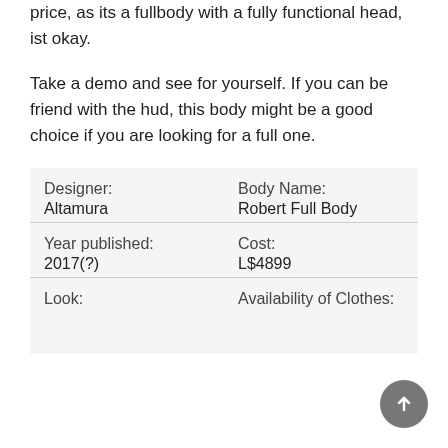price, as its a fullbody with a fully functional head, ist okay.
Take a demo and see for yourself. If you can be friend with the hud, this body might be a good choice if you are looking for a full one.
| Designer: | Body Name: |
| Altamura | Robert Full Body |
| Year published: | Cost: |
| 2017(?) | L$4899 |
| Look: | Availability of Clothes: |